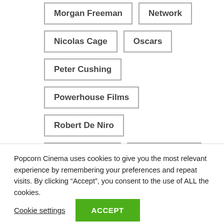Morgan Freeman
Network
Nicolas Cage
Oscars
Peter Cushing
Powerhouse Films
Robert De Niro
Sean Connery
Second Sight
Popcorn Cinema uses cookies to give you the most relevant experience by remembering your preferences and repeat visits. By clicking “Accept”, you consent to the use of ALL the cookies.
Cookie settings
ACCEPT